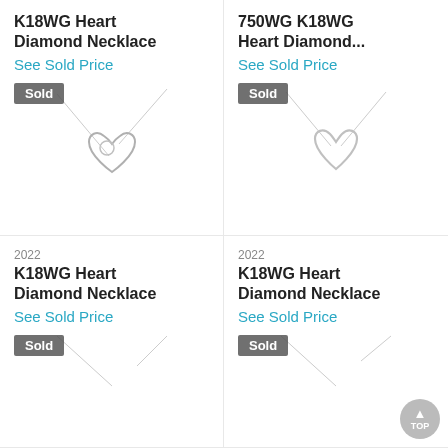K18WG Heart Diamond Necklace
See Sold Price
[Figure (photo): White gold heart diamond necklace on white background with 'Sold' badge]
750WG K18WG Heart Diamond...
See Sold Price
[Figure (photo): White gold open heart diamond necklace on white background with 'Sold' badge]
2022
K18WG Heart Diamond Necklace
See Sold Price
[Figure (photo): White gold heart diamond necklace partially visible with 'Sold' badge]
2022
K18WG Heart Diamond Necklace
See Sold Price
[Figure (photo): White gold heart diamond necklace partially visible with 'Sold' badge]